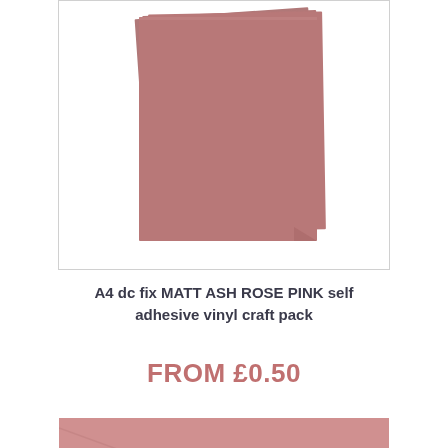[Figure (photo): Stack of A4 matt ash rose pink self-adhesive vinyl sheets, fanned out slightly, shown against white background with light border]
A4 dc fix MATT ASH ROSE PINK self adhesive vinyl craft pack
FROM £0.50
[Figure (photo): Close-up of a single rose pink vinyl sheet with a diagonal crease or fold line visible]